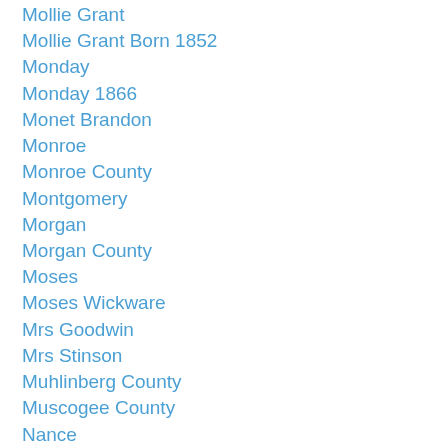Mollie Grant
Mollie Grant Born 1852
Monday
Monday 1866
Monet Brandon
Monroe
Monroe County
Montgomery
Morgan
Morgan County
Moses
Moses Wickware
Mrs Goodwin
Mrs Stinson
Muhlinberg County
Muscogee County
Nance
Nancy A Reed
Nathan Gorsuch
Nathaniel Stansbury
National Archives